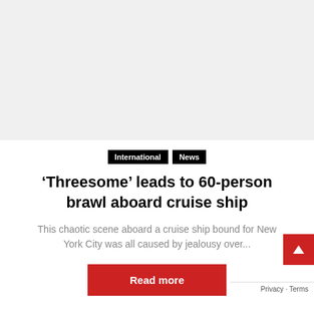[Figure (other): Gray placeholder area at the top of the page]
International  News
‘Threesome’ leads to 60-person brawl aboard cruise ship
This chaotic scene aboard a cruise ship bound for New York City was all caused by jealousy over...
Read more
Privacy · Terms